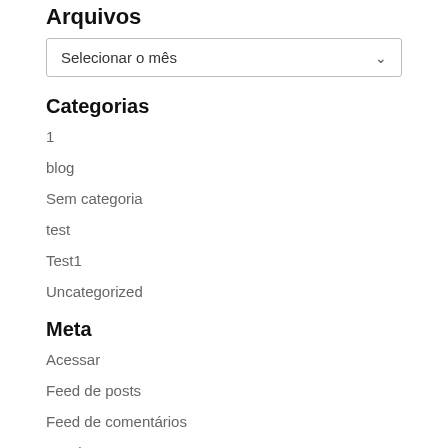Arquivos
Selecionar o mês
Categorias
1
blog
Sem categoria
test
Test1
Uncategorized
Meta
Acessar
Feed de posts
Feed de comentários
WordPress.org